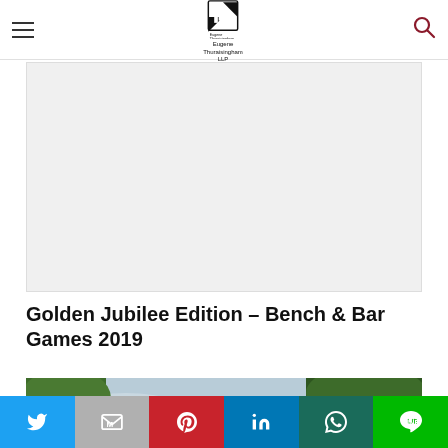Eugene Thuraisingham LLP — navigation header with logo and search
[Figure (other): Gray placeholder rectangle (advertisement or image area)]
Golden Jubilee Edition – Bench & Bar Games 2019
[Figure (photo): Outdoor photo showing trees with green foliage against a light blue sky, with a rooftop visible at the bottom right. A white triangle/play button overlay is visible on the right side.]
[Figure (infographic): Social share bar with six buttons: Twitter (blue), Gmail (gray), Pinterest (red), LinkedIn (blue), WhatsApp (dark teal), LINE (green)]